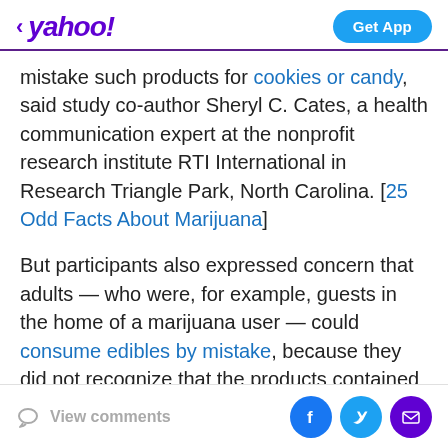< yahoo! | Get App
mistake such products for cookies or candy, said study co-author Sheryl C. Cates, a health communication expert at the nonprofit research institute RTI International in Research Triangle Park, North Carolina. [25 Odd Facts About Marijuana]
But participants also expressed concern that adults — who were, for example, guests in the home of a marijuana user — could consume edibles by mistake, because they did not recognize that the products contained marijuana, Cates told Live Science.
In the study, the researchers recruited 94 people living in
View comments | Facebook | Twitter | Mail